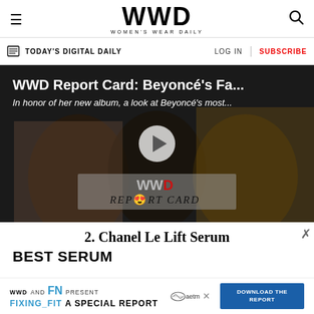WWD WOMEN'S WEAR DAILY
TODAY'S DIGITAL DAILY | LOG IN | SUBSCRIBE
[Figure (screenshot): WWD video thumbnail showing Beyonce fashion report card. Title reads 'WWD Report Card: Beyoncé's Fa...' with subtitle 'In honor of her new album, a look at Beyoncé's most...' WWD Report Card logo with heart-eyes emoji overlay. Play button in center.]
2. Chanel Le Lift Serum
BEST SERUM
WWD AND FN PRESENT FIXING_FIT A SPECIAL REPORT DOWNLOAD THE REPORT